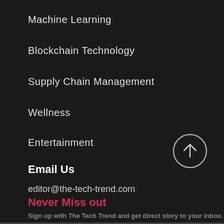Machine Learning
Blockchain Technology
Supply Chain Management
Wellness
Entertainment
Email Us
editor@the-tech-trend.com
Never Miss out
Sign up with The Tech Trend and get direct story to your inbox.